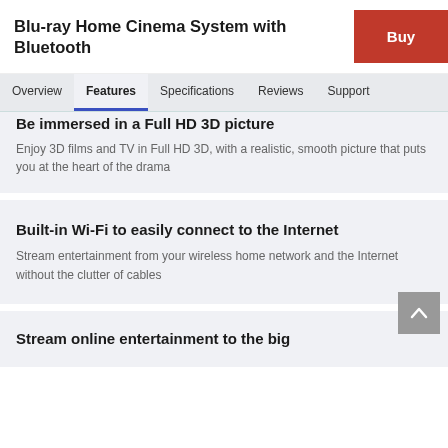Blu-ray Home Cinema System with Bluetooth
Be immersed in a Full HD 3D picture
Enjoy 3D films and TV in Full HD 3D, with a realistic, smooth picture that puts you at the heart of the drama
Built-in Wi-Fi to easily connect to the Internet
Stream entertainment from your wireless home network and the Internet without the clutter of cables
Stream online entertainment to the big